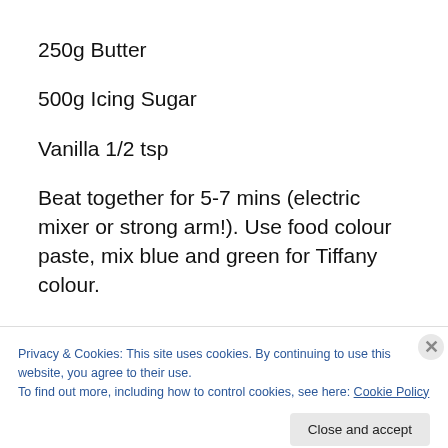250g Butter
500g Icing Sugar
Vanilla 1/2 tsp
Beat together for 5-7 mins (electric mixer or strong arm!). Use food colour paste, mix blue and green for Tiffany colour.
or, Fondant Icing- available at supermarkets or cake
Privacy & Cookies: This site uses cookies. By continuing to use this website, you agree to their use.
To find out more, including how to control cookies, see here: Cookie Policy